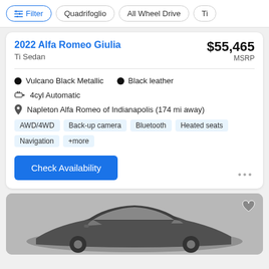Filter | Quadrifoglio | All Wheel Drive | Ti
2022 Alfa Romeo Giulia
Ti Sedan
$55,465 MSRP
Vulcano Black Metallic
Black leather
4cyl Automatic
Napleton Alfa Romeo of Indianapolis (174 mi away)
AWD/4WD | Back-up camera | Bluetooth | Heated seats | Navigation | +more
Check Availability
[Figure (photo): Dark colored Alfa Romeo Giulia sedan, grayscale photo]